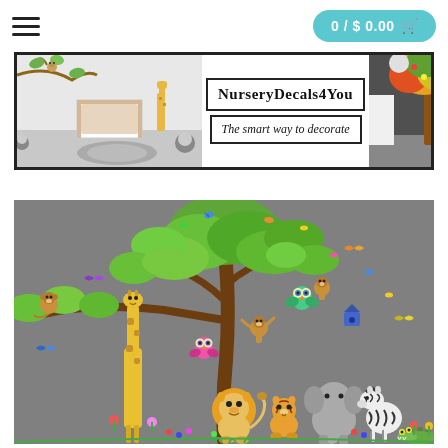0 / $ 0.00
[Figure (logo): NurseryDecals4You banner with logo: left side shows nursery room with giraffe and monkey wall decals, center shows brand name NurseryDecals4You and tagline The smart way to decorate, right side shows colorful tree wall decal]
[Figure (photo): Product photo on gray background showing jungle safari wall decals set: large tree with monkeys and owls, long-necked giraffe, lion, tiger/leopard cub, elephant, zebra, crocodile, colorful birds and butterflies]